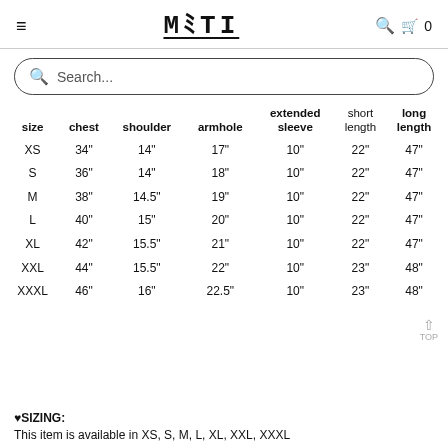≡  MATI  🔍 🛒 0
[Figure (screenshot): Search bar with rounded border and search icon placeholder text 'Search...']
| size | chest | shoulder | armhole | extended sleeve | short length | long length |
| --- | --- | --- | --- | --- | --- | --- |
| XS | 34" | 14" | 17" | 10" | 22" | 47" |
| S | 36" | 14" | 18" | 10" | 22" | 47" |
| M | 38" | 14.5" | 19" | 10" | 22" | 47" |
| L | 40" | 15" | 20" | 10" | 22" | 47" |
| XL | 42" | 15.5" | 21" | 10" | 22" | 47" |
| XXL | 44" | 15.5" | 22" | 10" | 23" | 48" |
| XXXL | 46" | 16" | 22.5" | 10" | 23" | 48" |
♥SIZING:
This item is available in XS, S, M, L, XL, XXL, XXXL